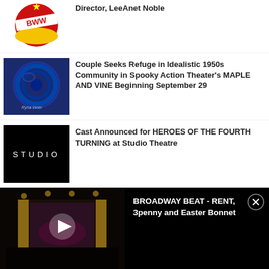[Figure (screenshot): BWW (BroadwayWorld) logo - red and yellow globe with BWW banner]
Director, LeeAnet Noble
[Figure (photo): Blue-toned theatrical image with circular mechanical/gear design]
Couple Seeks Refuge in Idealistic 1950s Community in Spooky Action Theater's MAPLE AND VINE Beginning September 29
[Figure (logo): Studio Theatre logo - black background with white text STUDIO]
Cast Announced for HEROES OF THE FOURTH TURNING at Studio Theatre
[Figure (screenshot): Video player showing theater interior with play button. Title: BROADWAY BEAT - RENT, 3penny and Easter Bonnet]